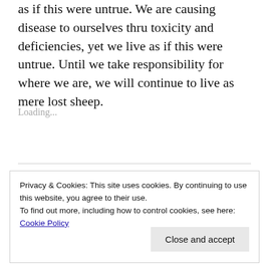as if this were untrue. We are causing disease to ourselves thru toxicity and deficiencies, yet we live as if this were untrue. Until we take responsibility for where we are, we will continue to live as mere lost sheep.
Loading...
Privacy & Cookies: This site uses cookies. By continuing to use this website, you agree to their use.
To find out more, including how to control cookies, see here: Cookie Policy
Close and accept